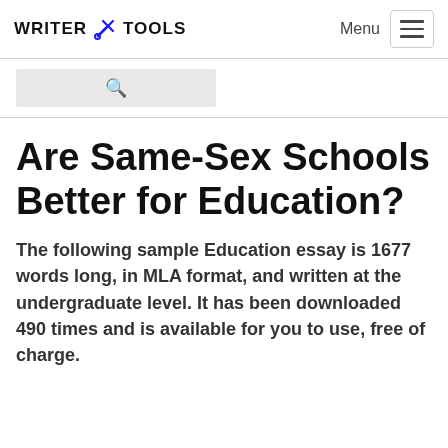WRITER TOOLS  Menu
Are Same-Sex Schools Better for Education?
The following sample Education essay is 1677 words long, in MLA format, and written at the undergraduate level. It has been downloaded 490 times and is available for you to use, free of charge.